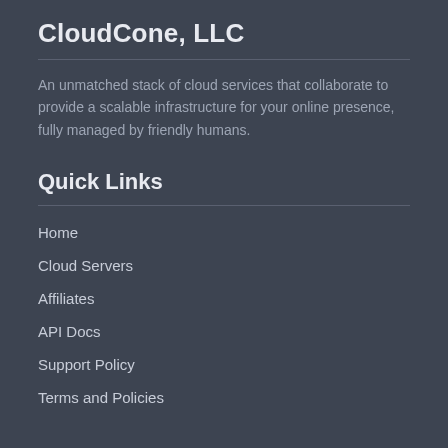CloudCone, LLC
An unmatched stack of cloud services that collaborate to provide a scalable infrastructure for your online presence, fully managed by friendly humans.
Quick Links
Home
Cloud Servers
Affiliates
API Docs
Support Policy
Terms and Policies